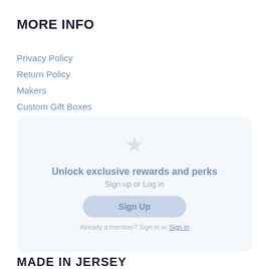MORE INFO
Privacy Policy
Return Policy
Makers
Custom Gift Boxes
[Figure (infographic): Loyalty/rewards modal overlay with star icon, heading 'Unlock exclusive rewards and perks', subheading 'Sign up or Log in', a 'Sign Up' button, and footer text 'Already a member? Sign in or Sign in']
MADE IN JERSEY